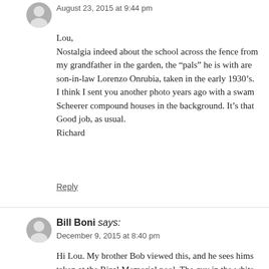August 23, 2015 at 9:44 pm
Lou,
Nostalgia indeed about the school across the fence from my grandfather in the garden, the “pals” he is with are son-in-law Lorenzo Onrubia, taken in the early 1930’s.
I think I sent you another photo years ago with a swam Scheerer compound houses in the background. It’s that
Good job, as usual.
Richard
Reply
Bill Boni says:
December 9, 2015 at 8:40 pm
Hi Lou. My brother Bob viewed this, and he sees hims taken at the Rizal Memorial pool. The guy in the white coach for many years. Bob and Fred went on to disting